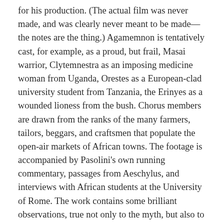for his production. (The actual film was never made, and was clearly never meant to be made—the notes are the thing.) Agamemnon is tentatively cast, for example, as a proud, but frail, Masai warrior, Clytemnestra as an imposing medicine woman from Uganda, Orestes as a European-clad university student from Tanzania, the Erinyes as a wounded lioness from the bush. Chorus members are drawn from the ranks of the many farmers, tailors, beggars, and craftsmen that populate the open-air markets of African towns. The footage is accompanied by Pasolini's own running commentary, passages from Aeschylus, and interviews with African students at the University of Rome. The work contains some brilliant observations, true not only to the myth, but also to the meaning of Aeschylus' trilogy. None of it romanticizes African "primitivism." (To depict the